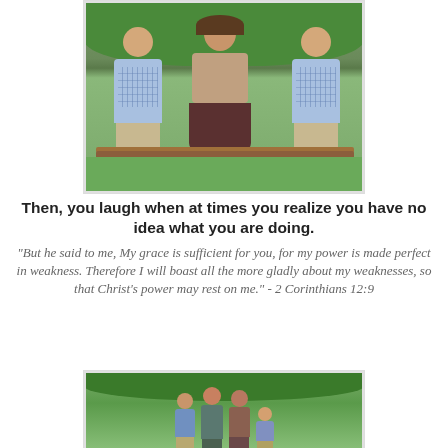[Figure (photo): A woman sitting on a wooden bench outdoors with two boys in plaid shirts standing on either side of her, green hedge in background, grass below.]
Then, you laugh when at times you realize you have no idea what you are doing.
"But he said to me, My grace is sufficient for you, for my power is made perfect in weakness. Therefore I will boast all the more gladly about my weaknesses, so that Christ's power may rest on me." - 2 Corinthians 12:9
[Figure (photo): A family group photo outdoors with green hedges in the background, showing at least four people including children.]